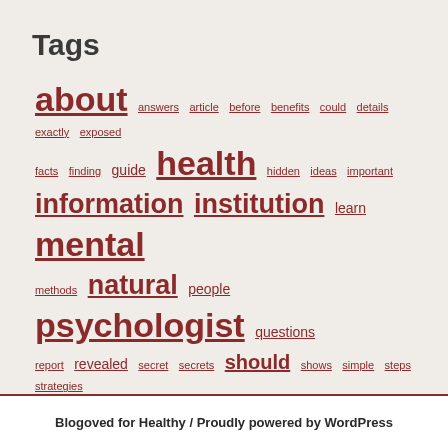Tags
about answers article before benefits could details exactly exposed facts finding guide health hidden ideas important information institution learn mental methods natural people psychologist questions report revealed secret secrets should shows simple steps strategies things today trick truth ultimate unanswered understand unveiled useful whats where
Blogoved for Healthy / Proudly powered by WordPress